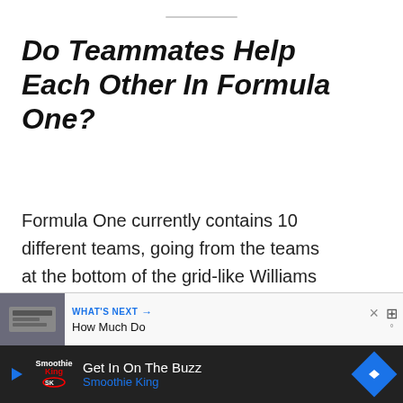Do Teammates Help Each Other In Formula One?
Formula One currently contains 10 different teams, going from the teams at the bottom of the grid-like Williams and Haas, to Mercedes and Red Bull at the top of the team. These teams are all trying to compete to be the best.